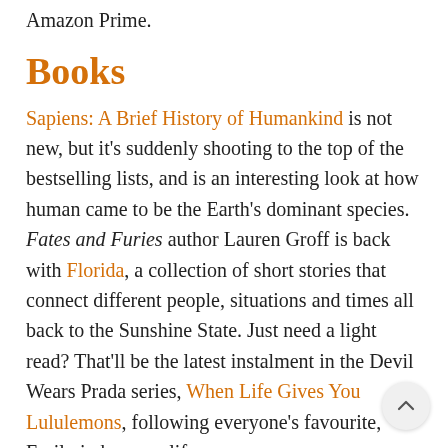Amazon Prime.
Books
Sapiens: A Brief History of Humankind is not new, but it's suddenly shooting to the top of the bestselling lists, and is an interesting look at how human came to be the Earth's dominant species. Fates and Furies author Lauren Groff is back with Florida, a collection of short stories that connect different people, situations and times all back to the Sunshine State. Just need a light read? That'll be the latest instalment in the Devil Wears Prada series, When Life Gives You Lululemons, following everyone's favourite, Emily in her new life as a